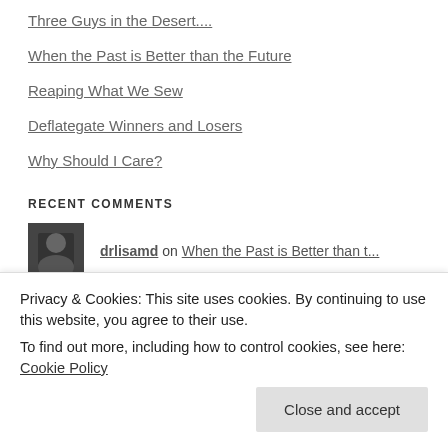Three Guys in the Desert....
When the Past is Better than the Future
Reaping What We Sew
Deflategate Winners and Losers
Why Should I Care?
RECENT COMMENTS
drlisamd on When the Past is Better than t...
Kitchen Gadgets on How do I Count my Enemies and
Privacy & Cookies: This site uses cookies. By continuing to use this website, you agree to their use.
To find out more, including how to control cookies, see here: Cookie Policy
Close and accept